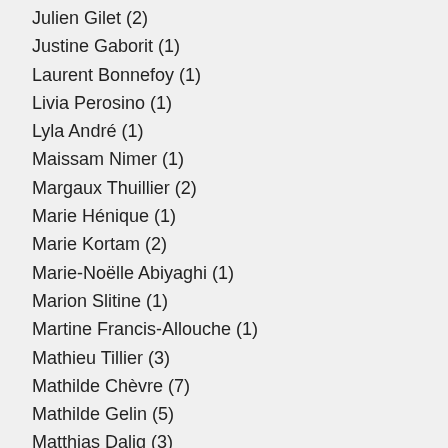Julien Gilet (2)
Justine Gaborit (1)
Laurent Bonnefoy (1)
Livia Perosino (1)
Lyla André (1)
Maissam Nimer (1)
Margaux Thuillier (2)
Marie Hénique (1)
Marie Kortam (2)
Marie-Noëlle Abiyaghi (1)
Marion Slitine (1)
Martine Francis-Allouche (1)
Mathieu Tillier (3)
Mathilde Chèvre (7)
Mathilde Gelin (5)
Matthias Dalig (3)
Micaela Sinibaldi (2)
Michel Mouton (1)
Mona Mona Khachan (1)